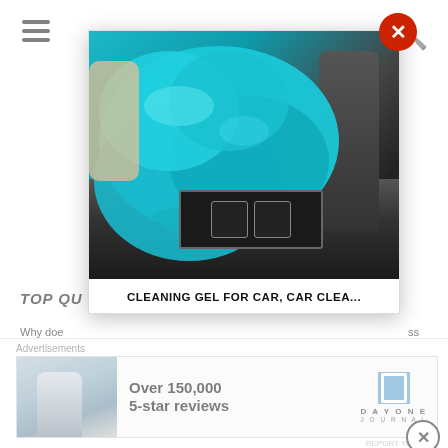[Figure (screenshot): Website screenshot showing a modal popup overlay. The modal displays a product image of cyan/teal cleaning gel being applied to a car interior console, with buttons area and gear selector visible. A red circular close button (X) is in the top-right corner of the modal. Below the image is the product caption text. In the background, partially visible page content includes a hamburger menu icon, search icon, section header 'TOP QU...', and article text starting with 'Why doe...' and 'freedom'. An advertisement bar at the bottom promotes 'Over 150,000 5-star reviews' with DayOne Journal branding.]
CLEANING GEL FOR CAR, CAR CLEA...
TOP QU
Why doe freedom
Why is P
Advertisements
Over 150,000
5-star reviews
[Figure (logo): DayOne Journal logo — blue bookmark icon above text DAYONE JOURNAL]